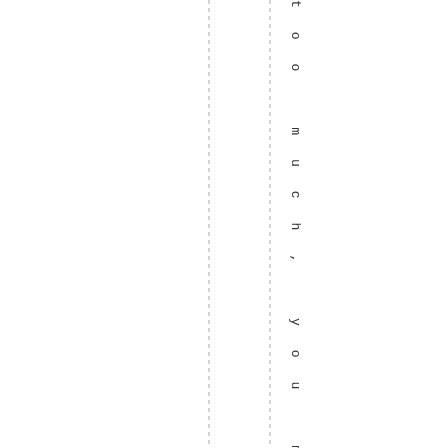too much, you might have the cart ool